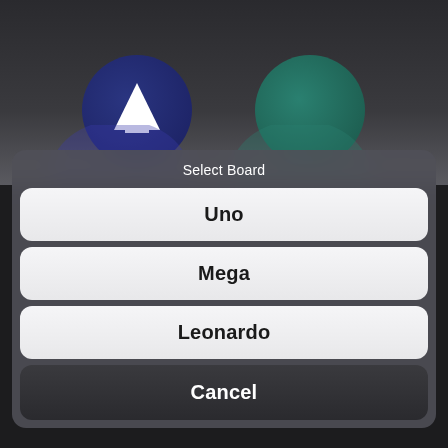[Figure (screenshot): Mobile app screenshot showing a 'Select Board' action sheet dialog with three options: Uno, Mega, Leonardo, and a Cancel button. Background shows two circular app icons (one dark blue with arrow, one dark teal).]
Select Board
Uno
Mega
Leonardo
Cancel